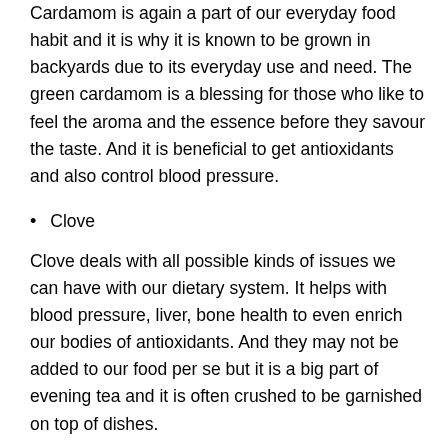Cardamom is again a part of our everyday food habit and it is why it is known to be grown in backyards due to its everyday use and need. The green cardamom is a blessing for those who like to feel the aroma and the essence before they savour the taste. And it is beneficial to get antioxidants and also control blood pressure.
Clove
Clove deals with all possible kinds of issues we can have with our dietary system. It helps with blood pressure, liver, bone health to even enrich our bodies of antioxidants. And they may not be added to our food per se but it is a big part of evening tea and it is often crushed to be garnished on top of dishes.
These essential medicinal plants are an everyday part of Indian diets and there’s no harm in growing them at home or ordering online as per convenience. But it is crucial to